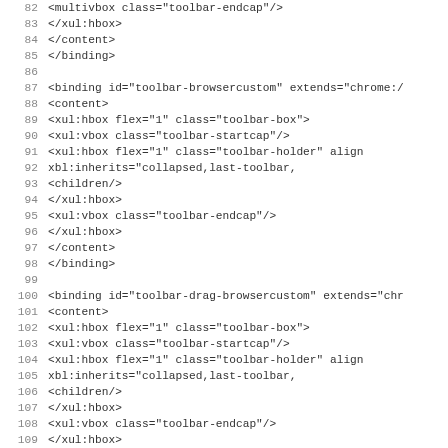Source code listing, lines 82-114, XML/XUL binding definitions